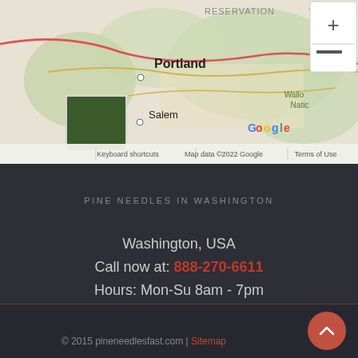[Figure (map): Google Maps screenshot showing Oregon/Washington area with Portland and Salem labeled, Wallow-Whitman National Forest, Reservation area, map controls with + and - zoom buttons, satellite view thumbnail, and footer with 'Keyboard shortcuts', 'Map data ©2022 Google', 'Terms of Use']
PINE NEEDLES IN WASHINGTON
Washington, USA
Call now at: 888-270-6611
Hours: Mon-Su 8am - 7pm
© 2015 pineneedlesfast.com | Sitemap